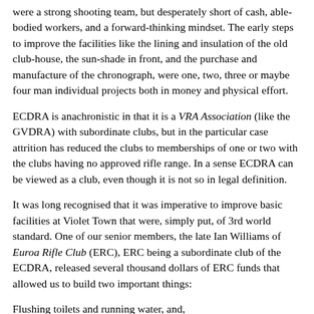were a strong shooting team, but desperately short of cash, able-bodied workers, and a forward-thinking mindset. The early steps to improve the facilities like the lining and insulation of the old clubhouse, the sun-shade in front, and the purchase and manufacture of the chronograph, were one, two, three or maybe four man individual projects both in money and physical effort.
ECDRA is anachronistic in that it is a VRA Association (like the GVDRA) with subordinate clubs, but in the particular case attrition has reduced the clubs to memberships of one or two with the clubs having no approved rifle range. In a sense ECDRA can be viewed as a club, even though it is not so in legal definition.
It was long recognised that it was imperative to improve basic facilities at Violet Town that were, simply put, of 3rd world standard. One of our senior members, the late Ian Williams of Euroa Rifle Club (ERC), ERC being a subordinate club of the ECDRA, released several thousand dollars of ERC funds that allowed us to build two important things:
Flushing toilets and running water, and,